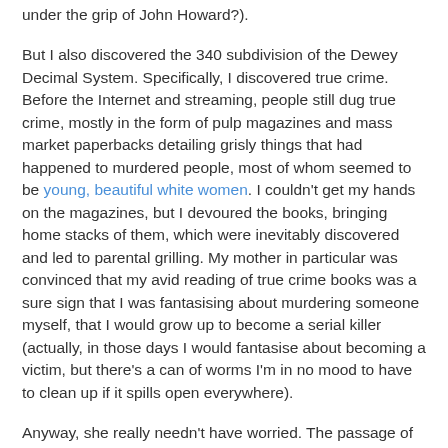under the grip of John Howard?).
But I also discovered the 340 subdivision of the Dewey Decimal System. Specifically, I discovered true crime. Before the Internet and streaming, people still dug true crime, mostly in the form of pulp magazines and mass market paperbacks detailing grisly things that had happened to murdered people, most of whom seemed to be young, beautiful white women. I couldn't get my hands on the magazines, but I devoured the books, bringing home stacks of them, which were inevitably discovered and led to parental grilling. My mother in particular was convinced that my avid reading of true crime books was a sure sign that I was fantasising about murdering someone myself, that I would grow up to become a serial killer (actually, in those days I would fantasise about becoming a victim, but there's a can of worms I'm in no mood to have to clean up if it spills open everywhere).
Anyway, she really needn't have worried. The passage of twenty years would prove that my interest is pretty much normal; mass adoption of the internet saw a huge rise in